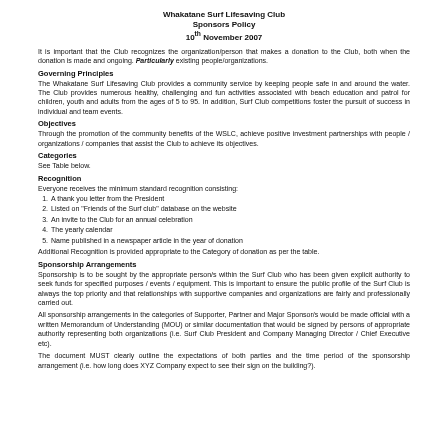Whakatane Surf Lifesaving Club
Sponsors Policy
10th November 2007
It is important that the Club recognizes the organization/person that makes a donation to the Club, both when the donation is made and ongoing. Particularly existing people/organizations.
Governing Principles
The Whakatane Surf Lifesaving Club provides a community service by keeping people safe in and around the water. The Club provides numerous healthy, challenging and fun activities associated with beach education and patrol for children, youth and adults from the ages of 5 to 95. In addition, Surf Club competitions foster the pursuit of success in individual and team events.
Objectives
Through the promotion of the community benefits of the WSLC, achieve positive investment partnerships with people / organizations / companies that assist the Club to achieve its objectives.
Categories
See Table below.
Recognition
Everyone receives the minimum standard recognition consisting:
A thank you letter from the President
Listed on "Friends of the Surf club" database on the website
An invite to the Club for an annual celebration
The yearly calendar
Name published in  a newspaper article in the year of donation
Additional Recognition is provided appropriate to the Category of donation as per the table.
Sponsorship Arrangements
Sponsorship is to be sought by the appropriate person/s within the Surf Club who has been given explicit authority to seek funds for specified purposes / events / equipment. This is important to ensure the public profile of the Surf Club is always the top priority and that relationships with supportive companies and organizations are fairly and professionally carried out.
All sponsorship arrangements in the categories of Supporter, Partner and Major Sponsor/s would be made official with a written Memorandum of Understanding (MOU) or similar documentation that would be signed by persons of appropriate authority representing both organizations (i.e. Surf Club President and Company Managing Director / Chief Executive etc).
The document MUST clearly outline the expectations of both parties and the time period of the sponsorship arrangement (i.e. how long does XYZ Company expect to see their sign on the building?).